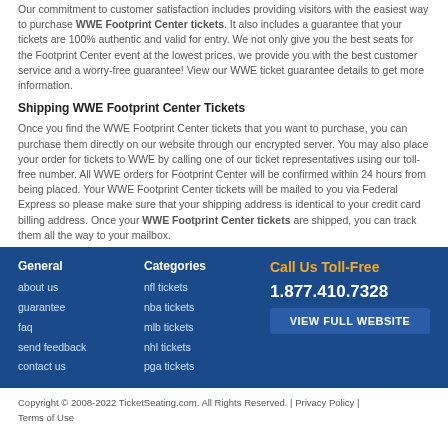Our commitment to customer satisfaction includes providing visitors with the easiest way to purchase WWE Footprint Center tickets. It also includes a guarantee that your tickets are 100% authentic and valid for entry. We not only give you the best seats for the Footprint Center event at the lowest prices, we provide you with the best customer service and a worry-free guarantee! View our WWE ticket guarantee details to get more information.
Shipping WWE Footprint Center Tickets
Once you find the WWE Footprint Center tickets that you want to purchase, you can purchase them directly on our website through our encrypted server. You may also place your order for tickets to WWE by calling one of our ticket representatives using our toll-free number. All WWE orders for Footprint Center will be confirmed within 24 hours from being placed. Your WWE Footprint Center tickets will be mailed to you via Federal Express so please make sure that your shipping address is identical to your credit card billing address. Once your WWE Footprint Center tickets are shipped, you can track them all the way to your mailbox.
General: about us, guarantee, faq, send feedback, contact us | Categories: nfl tickets, nba tickets, mlb tickets, nhl tickets, pga tickets | Call Us Toll-Free 1.877.410.7328 | VIEW FULL WEBSITE
Copyright © 2008-2022 TicketSeating.com. All Rights Reserved. | Privacy Policy | Terms of Use